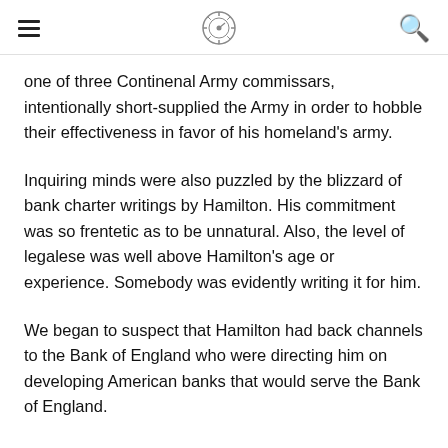one of three Continenal Army commissars, intentionally short-supplied the Army in order to hobble their effectiveness in favor of his homeland's army.
Inquiring minds were also puzzled by the blizzard of bank charter writings by Hamilton. His commitment was so frentetic as to be unnatural. Also, the level of legalese was well above Hamilton's age or experience. Somebody was evidently writing it for him.
We began to suspect that Hamilton had back channels to the Bank of England who were directing him on developing American banks that would serve the Bank of England.